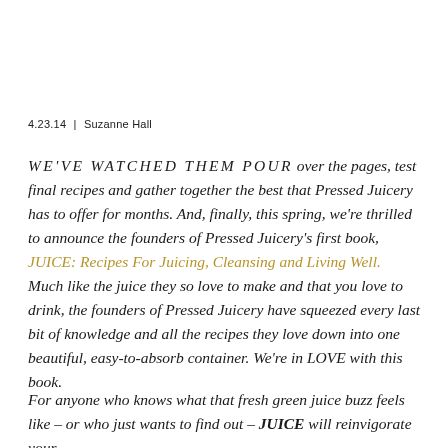4.23.14 | Suzanne Hall
WE'VE WATCHED THEM POUR over the pages, test final recipes and gather together the best that Pressed Juicery has to offer for months. And, finally, this spring, we're thrilled to announce the founders of Pressed Juicery's first book, JUICE: Recipes For Juicing, Cleansing and Living Well. Much like the juice they so love to make and that you love to drink, the founders of Pressed Juicery have squeezed every last bit of knowledge and all the recipes they love down into one beautiful, easy-to-absorb container. We're in LOVE with this book.
For anyone who knows what that fresh green juice buzz feels like – or who just wants to find out – JUICE will reinvigorate your